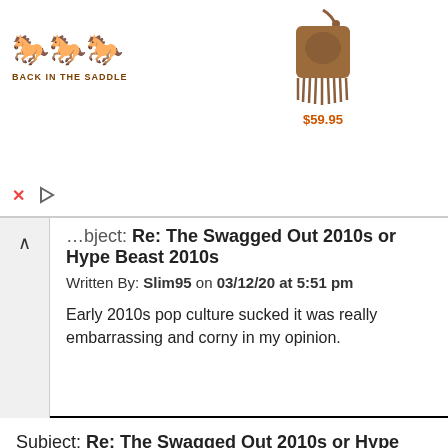[Figure (other): Advertisement banner for 'Back in the Saddle' showing horses logo, a brown leather fringe handbag product image, and a price of $59.95 with close (X) and play controls]
Subject: Re: The Swagged Out 2010s or Hype Beast 2010s
Written By: Slim95 on 03/12/20 at 5:51 pm
Early 2010s pop culture sucked it was really embarrassing and corny in my opinion.
Subject: Re: The Swagged Out 2010s or Hype Beast 2010s
Written By: Dundee on 03/12/20 at 6:03 pm
Early 2010s pop culture was a gift from the heavens